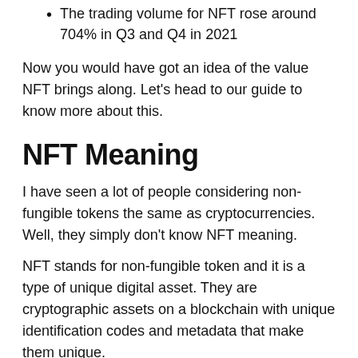The trading volume for NFT rose around 704% in Q3 and Q4 in 2021
Now you would have got an idea of the value NFT brings along. Let’s head to our guide to know more about this.
NFT Meaning
I have seen a lot of people considering non-fungible tokens the same as cryptocurrencies. Well, they simply don’t know NFT meaning.
NFT stands for non-fungible token and it is a type of unique digital asset. They are cryptographic assets on a blockchain with unique identification codes and metadata that make them unique.